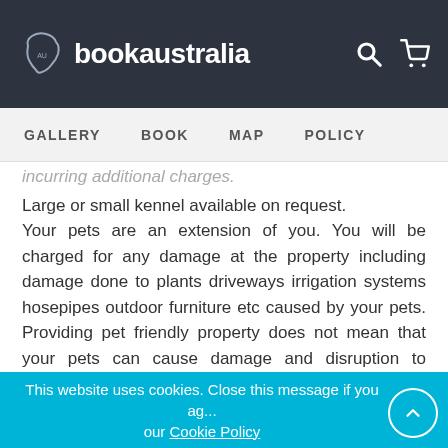bookaustralia
GALLERY  BOOK  MAP  POLICY
incurring additional charges. Large or small kennel available on request. Your pets are an extension of you. You will be charged for any damage at the property including damage done to plants driveways irrigation systems hosepipes outdoor furniture etc caused by your pets. Providing pet friendly property does not mean that your pets can cause damage and disruption to outdoor areas. We understand not all pets are created equal so if you are unsure about any of the above conditions please talk to us first if you have any hesitations we can advise you on the type of gardens at our properties to ensure your pet is safe and the owne...
This website uses cookies. Close this message if you agree to our Cookie Policy